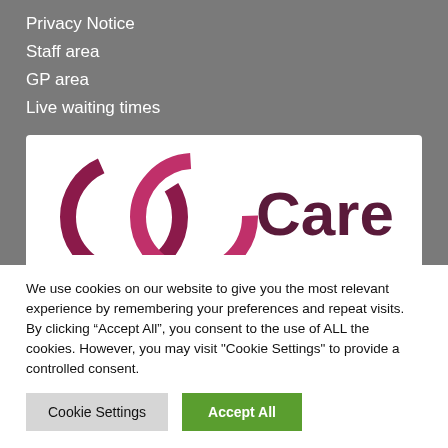Privacy Notice
Staff area
GP area
Live waiting times
Accessibility
[Figure (logo): Care logo with two overlapping circles in dark pink/maroon and the word 'Care' in bold dark maroon text]
We use cookies on our website to give you the most relevant experience by remembering your preferences and repeat visits. By clicking “Accept All”, you consent to the use of ALL the cookies. However, you may visit "Cookie Settings" to provide a controlled consent.
Cookie Settings | Accept All